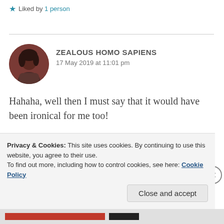Liked by 1 person
ZEALOUS HOMO SAPIENS
17 May 2019 at 11:01 pm
[Figure (photo): Circular avatar photo of a person with dark hair, reddish-brown toned photo]
Hahaha, well then I must say that it would have been ironical for me too!
Liked by 1 person
Privacy & Cookies: This site uses cookies. By continuing to use this website, you agree to their use.
To find out more, including how to control cookies, see here: Cookie Policy
Close and accept